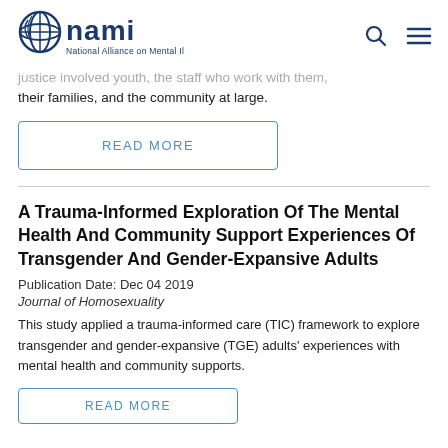NAMI - National Alliance on Mental Illness
justice involved youth, the staff who work with them, their families, and the community at large.
READ MORE
A Trauma-Informed Exploration Of The Mental Health And Community Support Experiences Of Transgender And Gender-Expansive Adults
Publication Date: Dec 04 2019
Journal of Homosexuality
This study applied a trauma-informed care (TIC) framework to explore transgender and gender-expansive (TGE) adults' experiences with mental health and community supports.
READ MORE